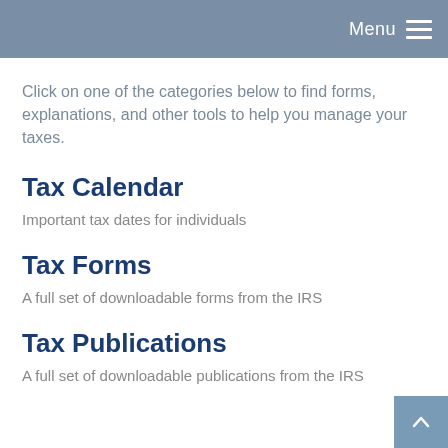Menu
Click on one of the categories below to find forms, explanations, and other tools to help you manage your taxes.
Tax Calendar
Important tax dates for individuals
Tax Forms
A full set of downloadable forms from the IRS
Tax Publications
A full set of downloadable publications from the IRS